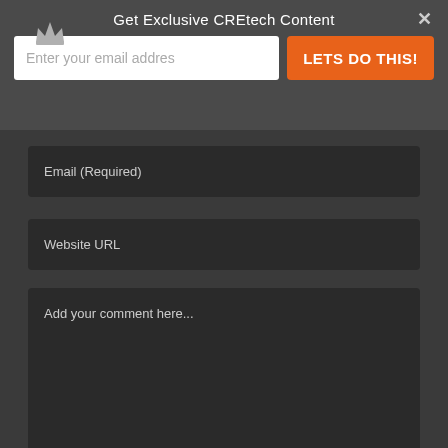Get Exclusive CREtech Content
Enter your email addres
LETS DO THIS!
Email (Required)
Website URL
Add your comment here...
POST COMMENT